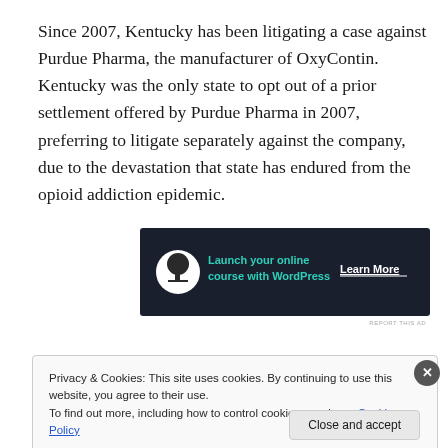Since 2007, Kentucky has been litigating a case against Purdue Pharma, the manufacturer of OxyContin. Kentucky was the only state to opt out of a prior settlement offered by Purdue Pharma in 2007, preferring to litigate separately against the company, due to the devastation that state has endured from the opioid addiction epidemic.
[Figure (other): Advertisement banner with dark background showing 'Launch your online course with WordPress' with a Learn More button and a tree/bonsai logo icon]
REPORT THIS AD
Privacy & Cookies: This site uses cookies. By continuing to use this website, you agree to their use.
To find out more, including how to control cookies, see here: Cookie Policy
Close and accept